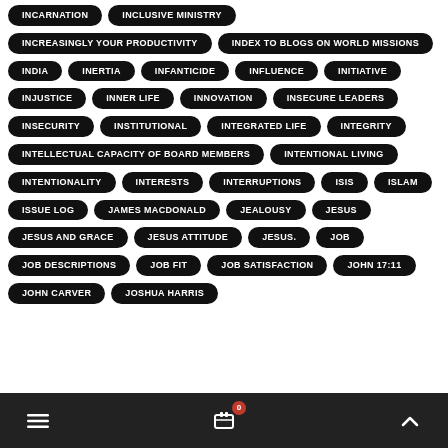INCARNATION
INCLUSIVE MINISTRY
INCREASINGLY YOUR PRODUCTIVITY
INDEX TO BLOGS ON WORLD MISSIONS
INDIA
INERTIA
INFANTICIDE
INFLUENCE
INITIATIVE
INJUSTICE
INNER LIFE
INNOVATION
INSECURE LEADERS
INSECURITY
INSTITUTIONAL
INTEGRATED LIFE
INTEGRITY
INTELLECTUAL CAPACITY OF BOARD MEMBERS
INTENTIONAL LIVING
INTENTIONALITY
INTERESTS
INTERRUPTIONS
ISIS
ISLAM
ISSUE LOG
JAMES MACDONALD
JEALOUSY
JESUS
JESUS AND GRACE
JESUS ATTITUDE
JESUS.
JOB
JOB DESCRIPTIONS
JOB FIT
JOB SATISFACTION
JOHN 17:11
JOHN CARVER
JOSHUA HARRIS
≡  🛒 0  ∧